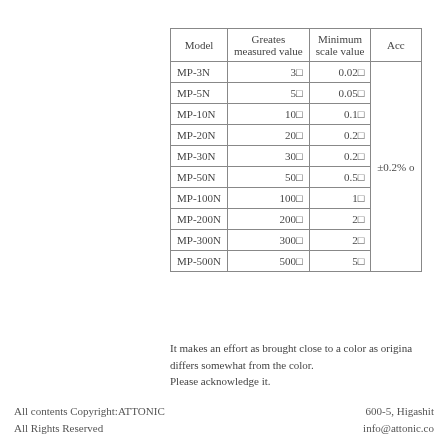| Model | Greates measured value | Minimum scale value | Acc |
| --- | --- | --- | --- |
| MP-3N | 3□ | 0.02□ | ±0.2% o |
| MP-5N | 5□ | 0.05□ |  |
| MP-10N | 10□ | 0.1□ |  |
| MP-20N | 20□ | 0.2□ |  |
| MP-30N | 30□ | 0.2□ |  |
| MP-50N | 50□ | 0.5□ |  |
| MP-100N | 100□ | 1□ |  |
| MP-200N | 200□ | 2□ |  |
| MP-300N | 300□ | 2□ |  |
| MP-500N | 500□ | 5□ |  |
It makes an effort as brought close to a color as origina differs somewhat from the color. Please acknowledge it.
All contents Copyright:ATTONIC All Rights Reserved   600-5, Higashit info@attonic.co